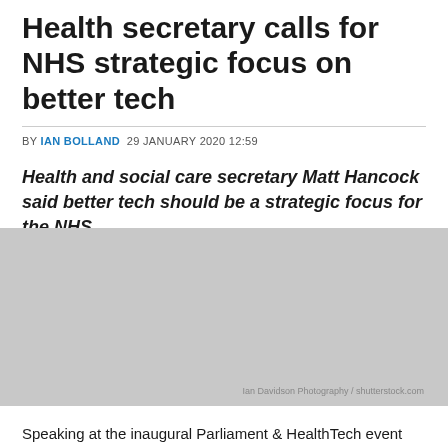Health secretary calls for NHS strategic focus on better tech
BY IAN BOLLAND  29 JANUARY 2020 12:59
Health and social care secretary Matt Hancock said better tech should be a strategic focus for the NHS.
[Figure (photo): Grey placeholder image representing a photograph, with photo credit: Ian Davidson Photography / shutterstock.com]
Ian Davidson Photography / shutterstock.com
Speaking at the inaugural Parliament & HealthTech event